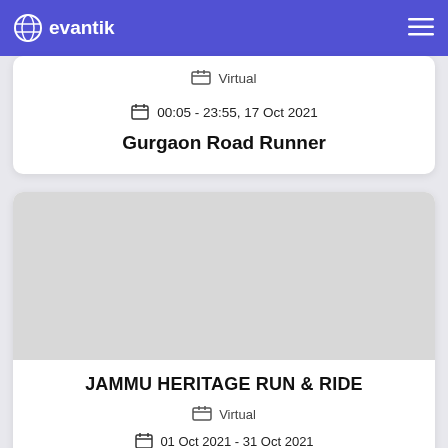evantik
Virtual
00:05 - 23:55, 17 Oct 2021
Gurgaon Road Runner
[Figure (photo): Event image placeholder for JAMMU HERITAGE RUN & RIDE]
JAMMU HERITAGE RUN & RIDE
Virtual
01 Oct 2021 - 31 Oct 2021